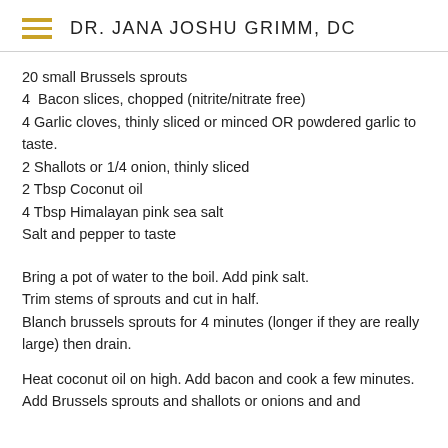DR. JANA JOSHU GRIMM, DC
20 small Brussels sprouts
4  Bacon slices, chopped (nitrite/nitrate free)
4 Garlic cloves, thinly sliced or minced OR powdered garlic to taste.
2 Shallots or 1/4 onion, thinly sliced
2 Tbsp Coconut oil
4 Tbsp Himalayan pink sea salt
Salt and pepper to taste
Bring a pot of water to the boil. Add pink salt.
Trim stems of sprouts and cut in half.
Blanch brussels sprouts for 4 minutes (longer if they are really large) then drain.
Heat coconut oil on high. Add bacon and cook a few minutes.
Add Brussels sprouts and shallots or onions and and